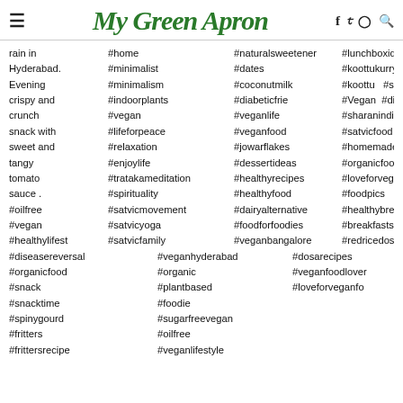My Green Apron — navigation header with hamburger menu, logo, and icons (f, twitter, instagram, search)
rain in #home #naturalsweetener #lunchboxideas #plantbased Hyderabad. #minimalist #dates #koottukurry #nutritiousandd Evening #minimalism #coconutmilk #koottu #setdosa crispy and #indoorplants #diabeticfriendly #Vegan #diseasereversal crunch #vegan #veganlife #sharanindia #organicfood snack with #lifeforpeace #veganfood #satvicfood #hyderabadvega sweet and #relaxation #jowarflakes #homemadefood #breakfastideas tangy #enjoylife #dessertideas #organicfood #foodblogger tomato #tratakameditation #healthyrecipes #loveforvegan #passionforfood sauce. #spirituality #healthyfood #foodpics #oilfree #satvicmovement #dairyalternative #healthybreakfa #vegan #satvicyoga #foodforfoodies #breakfasts #healthylifestyle #satvicfamily #veganbangalore #redricedosa #diseasereversal #veganhyderabad #dosarecipes #organicfood #organic #veganfoodlover #snack #plantbased #loveforveganfo #snacktime #foodie #spinygourd #sugarfreevegan #fritters #oilfree #frittersrecipe #veganlifestyle